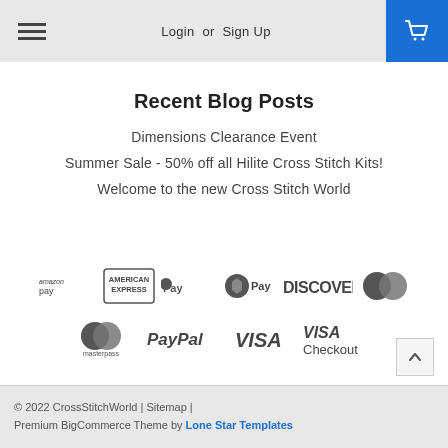Login or Sign Up
Recent Blog Posts
Dimensions Clearance Event
Summer Sale - 50% off all Hilite Cross Stitch Kits!
Welcome to the new Cross Stitch World
[Figure (logo): Payment method logos: Amazon Pay, American Express, Apple Pay, Chase Pay, Discover, MasterCard, Masterpass, PayPal, Visa, Visa Checkout]
© 2022 CrossStitchWorld | Sitemap | Premium BigCommerce Theme by Lone Star Templates